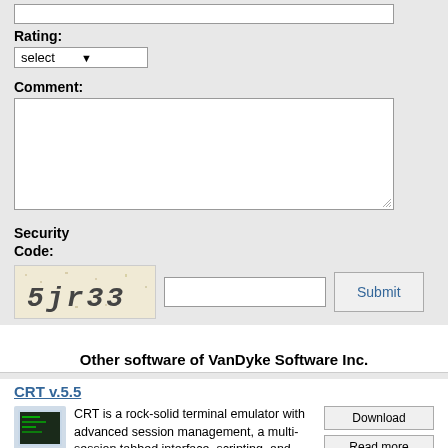Rating:
[Figure (screenshot): Dropdown select box showing 'select' with arrow]
Comment:
[Figure (screenshot): Large textarea input box for comment]
Security Code:
[Figure (screenshot): CAPTCHA image showing '5jr33', text input box, and Submit button]
Other software of VanDyke Software Inc.
CRT  v.5.5
CRT is a rock-solid terminal emulator with advanced session management, a multi-session tabbed interface, scripting, and numerous emulations. CRT supports SOCKS and generic firewalls, transparent printing, Xmodem/Zmodem, ActiveX, and Windows TAPI.
SecureCRT  v.6.1